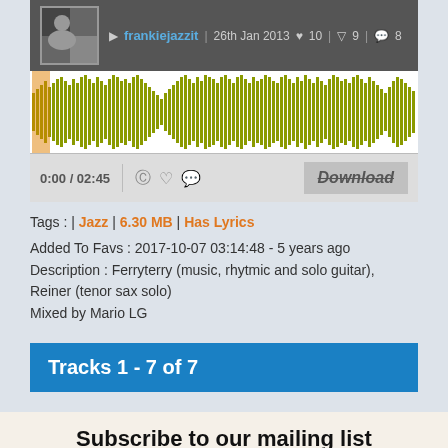[Figure (screenshot): Music player interface showing avatar photo, username frankiejazzit, date 26th Jan 2013, stats: 10 likes, 9 downvotes, 8 comments]
[Figure (continuous-plot): Audio waveform visualization in olive/yellow-green color on white background]
0:00 / 02:45
Download
Tags : | Jazz | 6.30 MB | Has Lyrics
Added To Favs : 2017-10-07 03:14:48 - 5 years ago
Description : Ferryterry (music, rhytmic and solo guitar), Reiner (tenor sax solo)
Mixed by Mario LG
Tracks 1 - 7 of 7
Subscribe to our mailing list